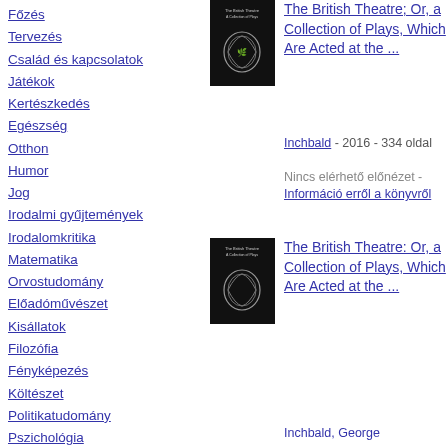Főzés
Tervezés
Család és kapcsolatok
Játékok
Kertészkedés
Egészség
Otthon
Humor
Jog
Irodalmi gyűjtemények
Irodalomkritika
Matematika
Orvostudomány
Előadóművészet
Kisállatok
Filozófia
Fényképezés
Költészet
Politikatudomány
Pszichológia
Vallás
Önsegítés
[Figure (photo): Book cover of The British Theatre; Or, a Collection of Plays, Which Are Acted at the ... - dark cover with laurel wreath]
The British Theatre; Or, a Collection of Plays, Which Are Acted at the ...
Inchbald - 2016 - 334 oldal
Nincs elérhető előnézet -
Információ erről a könyvről
[Figure (photo): Book cover of The British Theatre: Or, a Collection of Plays, Which Are Acted at the ... - dark cover with laurel wreath]
The British Theatre: Or, a Collection of Plays, Which Are Acted at the ...
Inchbald, George